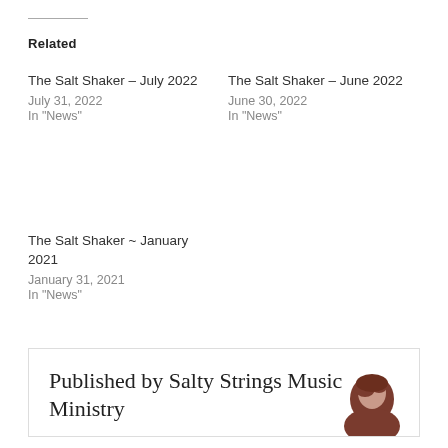Related
The Salt Shaker – July 2022
July 31, 2022
In "News"
The Salt Shaker – June 2022
June 30, 2022
In "News"
The Salt Shaker ~ January 2021
January 31, 2021
In "News"
Published by Salty Strings Music Ministry